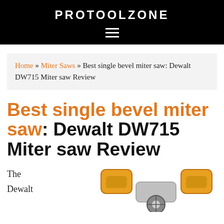PROTOOLZONE
Home » Miter Saws » Best single bevel miter saw: Dewalt DW715 Miter saw Review
Best single bevel miter saw: Dewalt DW715 Miter saw Review
The Dewalt
[Figure (photo): Partial photo of a yellow Dewalt DW715 miter saw, showing top handles and blade area, cropped at bottom of page]